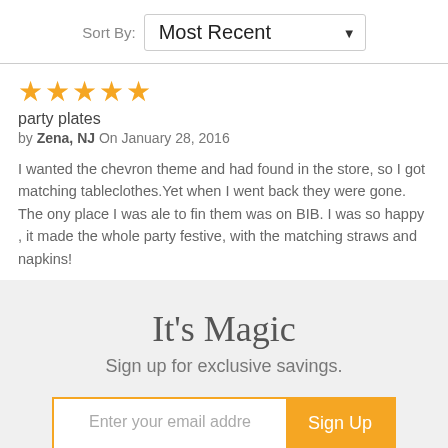Sort By: Most Recent
[Figure (other): Five orange star rating icons]
party plates
by Zena, NJ On January 28, 2016
I wanted the chevron theme and had found in the store, so I got matching tableclothes.Yet when I went back they were gone. The ony place I was ale to fin them was on BIB. I was so happy , it made the whole party festive, with the matching straws and napkins!
It's Magic
Sign up for exclusive savings.
Enter your email addre  Sign Up